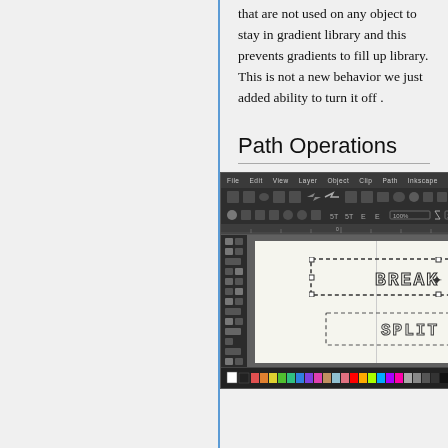that are not used on any object to stay in gradient library and this prevents gradients to fill up library. This is not a new behavior we just added ability to turn it off .
Path Operations
[Figure (screenshot): Screenshot of Inkscape application showing path operations demo with 'BREAK PATH' text outlined with dashed selection and 'SPLIT PATH' text below it on a canvas, with toolbars and color palette visible]